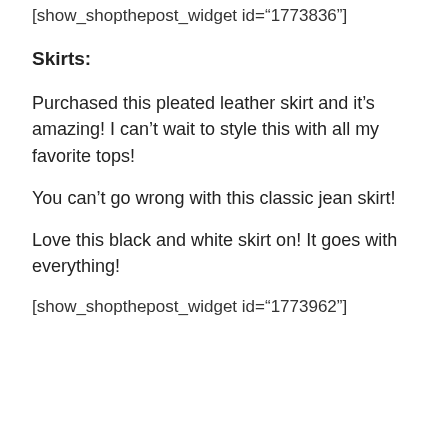[show_shopthepost_widget id="1773836"]
Skirts:
Purchased this pleated leather skirt and it’s amazing! I can’t wait to style this with all my favorite tops!
You can’t go wrong with this classic jean skirt!
Love this black and white skirt on! It goes with everything!
[show_shopthepost_widget id="1773962"]